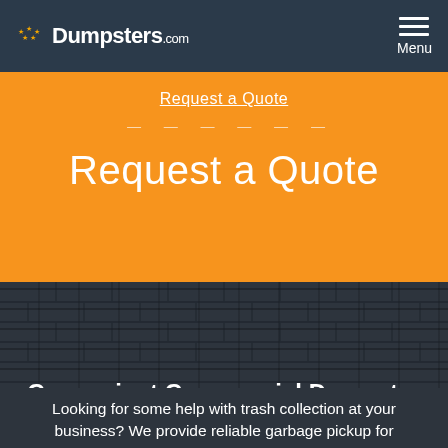Dumpsters.com
Request a Quote
Request a Quote
Convenient Commercial Dumpster Rentals in Kalamazoo
Looking for some help with trash collection at your business? We provide reliable garbage pickup for Kalamazoo businesses of all sizes. Whether you're a college hangout or